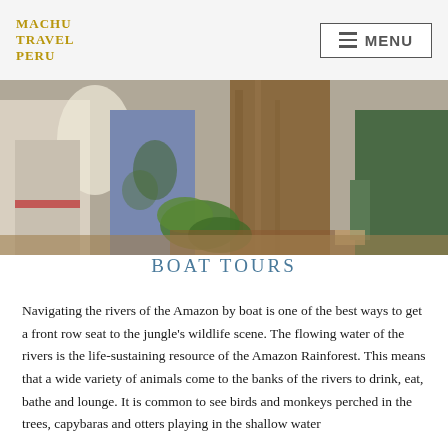MACHU TRAVEL PERU | MENU
[Figure (photo): People standing near a large tree in the Amazon rainforest with tropical foliage in the background.]
BOAT TOURS
Navigating the rivers of the Amazon by boat is one of the best ways to get a front row seat to the jungle's wildlife scene. The flowing water of the rivers is the life-sustaining resource of the Amazon Rainforest. This means that a wide variety of animals come to the banks of the rivers to drink, eat, bathe and lounge. It is common to see birds and monkeys perched in the trees, capybaras and otters playing in the shallow water